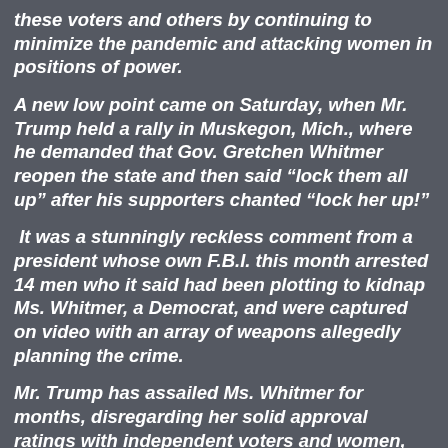these voters and others by continuing to minimize the pandemic and attacking women in positions of power.
A new low point came on Saturday, when Mr. Trump held a rally in Muskegon, Mich., where he demanded that Gov. Gretchen Whitmer reopen the state and then said “lock them all up” after his supporters chanted “lock her up!”
It was a stunningly reckless comment from a president whose own F.B.I. this month arrested 14 men who it said had been plotting to kidnap Ms. Whitmer, a Democrat, and were captured on video with an array of weapons allegedly planning the crime.
Mr. Trump has assailed Ms. Whitmer for months, disregarding her solid approval ratings with independent voters and women, two groups he is